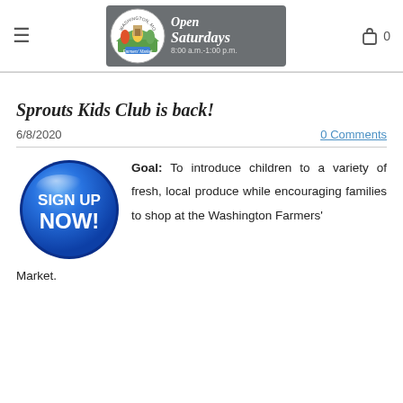Washington, MO Farmers' Market — Open Saturdays 8:00 a.m.–1:00 p.m.
Sprouts Kids Club is back!
6/8/2020
0 Comments
[Figure (illustration): Blue glossy button with white bold text reading SIGN UP NOW!]
Goal: To introduce children to a variety of fresh, local produce while encouraging families to shop at the Washington Farmers' Market.